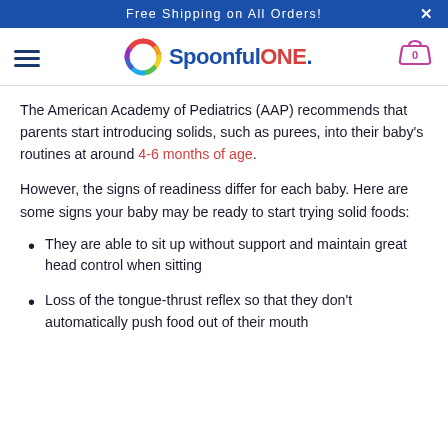Free Shipping on All Orders!
[Figure (logo): SpoonfulONE logo with colorful circle icon and shopping cart with 0 items]
The American Academy of Pediatrics (AAP) recommends that parents start introducing solids, such as purees, into their baby's routines at around 4-6 months of age.
However, the signs of readiness differ for each baby. Here are some signs your baby may be ready to start trying solid foods:
They are able to sit up without support and maintain great head control when sitting
Loss of the tongue-thrust reflex so that they don't automatically push food out of their mouth